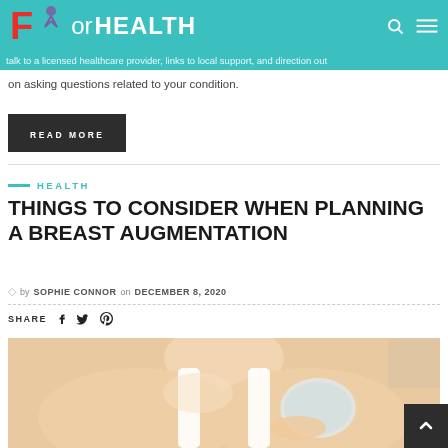ForHEALTH
talk to a licensed healthcare provider, links to local support, and direction on asking questions related to your condition.
READ MORE
HEALTH
THINGS TO CONSIDER WHEN PLANNING A BREAST AUGMENTATION
by SOPHIE CONNOR on DECEMBER 8, 2020
SHARE
[Figure (photo): Woman in white tank top holding a breast implant medical device, article feature image for breast augmentation article]